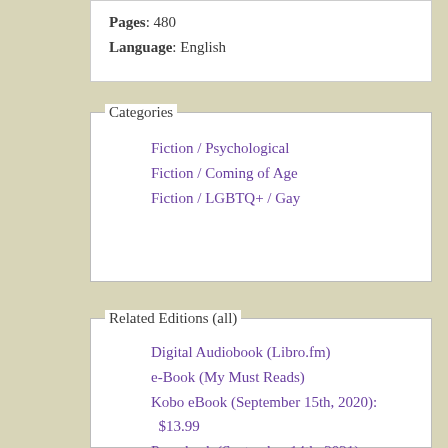Pages: 480
Language: English
Categories
Fiction / Psychological
Fiction / Coming of Age
Fiction / LGBTQ+ / Gay
Related Editions (all)
Digital Audiobook (Libro.fm)
e-Book (My Must Reads)
Kobo eBook (September 15th, 2020): $13.99
Paperback (September 14th, 2021): $16.99
Compact Disc (September 15th, 2020): $44.99
MP3 CD (September 15th, 2020):